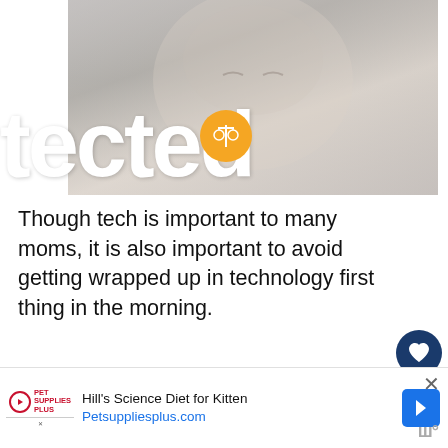[Figure (photo): Baby photo with large white text overlay reading 'tected' (partial word, likely 'protected'), with an orange balance/scale icon in the center]
Though tech is important to many moms, it is also important to avoid getting wrapped up in technology first thing in the morning.
It might be tempting to get caught up on social media or check news sites, b... media often drains time and before you realize it, you have spent your entire m...
[Figure (infographic): WHAT'S NEXT callout box with thumbnail image and text '35 Delicious Cleansing...']
[Figure (infographic): Advertisement bar: Hill's Science Diet for Kitten, Petsuppliesplus.com with Pet Supplies Plus logo and navigation arrow icon]